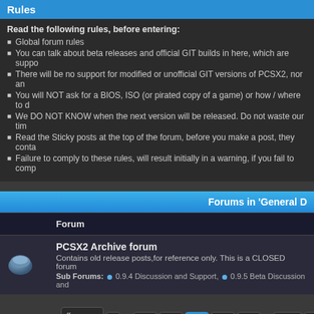Rules
Read the following rules, before entering:
Global forum rules
You can talk about beta releases and official GIT builds in here, which are supported.
There will be no support for modified or unofficial GIT versions of PCSX2, nor any
You will NOT ask for a BIOS, ISO (or pirated copy of a game) or how / where to d
We DO NOT KNOW when the next version will be released. Do not waste our tim
Read the Sticky posts at the top of the forum, before you make a post, they conta
Failure to comply to these rules, will result initially in a warning, if you fail to com
Forums in 'General D
| Forum |
| --- |
| PCSX2 Archive forum | Contains old release posts,for reference only. This is a CLOSED forum | Sub Forums: 0.9.4 Discussion and Support, 0.9.5 Beta Discussion and |
Pages (1749): « Previous 1 ... 131 132 133 134 135 ... 1749 Nex
General Discussion and Support (Windows)
| Thread / Author |
| --- |
| Forum Announcements |